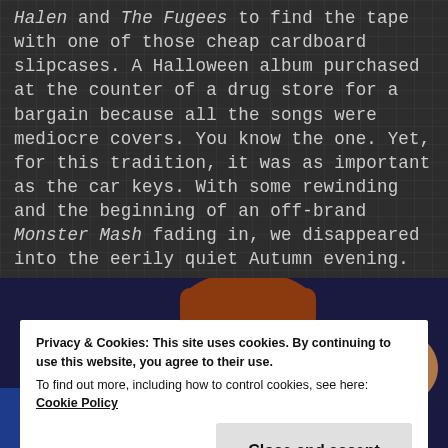Halen and The Fugees to find the tape with one of those cheap cardboard slipcases. A Halloween album purchased at the counter of a drug store for a bargain because all the songs were mediocre covers. You know the one. Yet, for this tradition, it was as important as the car keys. With some rewinding and the beginning of an off-brand Monster Mash fading in, we disappeared into the eerily quiet Autumn evening.
[Figure (photo): Photo of a toy/figurine with brown hair and an angry expression, wearing blue, with another toy partially visible at right edge, against a dark blue background]
Privacy & Cookies: This site uses cookies. By continuing to use this website, you agree to their use.
To find out more, including how to control cookies, see here: Cookie Policy
Close and accept